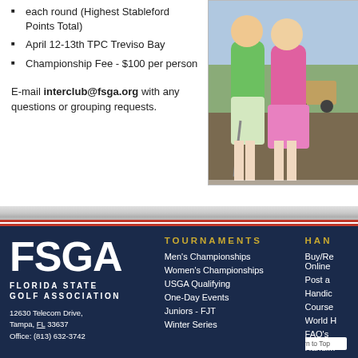each round (Highest Stableford Points Total)
April 12-13th TPC Treviso Bay
Championship Fee - $100 per person
[Figure (photo): Two women golfers standing together outdoors on a golf course]
E-mail interclub@fsga.org with any questions or grouping requests.
[Figure (logo): FSGA Florida State Golf Association logo]
12630 Telecom Drive, Tampa, FL 33637 Office: (813) 632-3742
TOURNAMENTS
Men's Championships
Women's Championships
USGA Qualifying
One-Day Events
Juniors - FJT
Winter Series
HAN
Buy/Re Online
Post a
Handic
Course
World H
FAQ's
Handi...
Return to Top